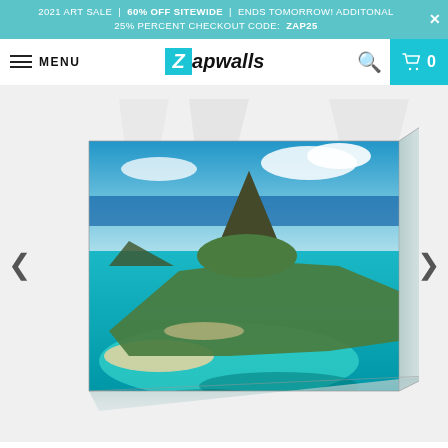2021 ART SALE | 60% OFF SITEWIDE | ENDS TOMORROW! ADDITONAL 25% PERCENT CHECKOUT CODE: ZAP25
MENU  Zapwalls  [search icon] [cart 0]
[Figure (photo): Canvas print product display showing an aerial photograph of a tropical island peninsula (Le Morne Brabant, Mauritius) with turquoise lagoon water, green hills, a dramatic rocky peak, white beaches, and blue sky with clouds. The photo is mounted on a canvas wrap shown in a 3D angled view. Navigation arrows on left and right sides.]